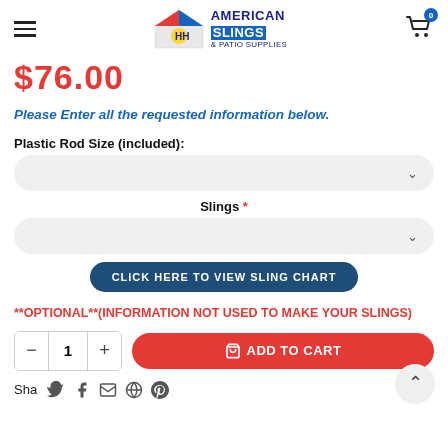American Slings & Patio Supplies
$76.00
Please Enter all the requested information below.
Plastic Rod Size (included):
Slings *
CLICK HERE TO VIEW SLING CHART
**OPTIONAL**(INFORMATION NOT USED TO MAKE YOUR SLINGS)
ADD TO CART